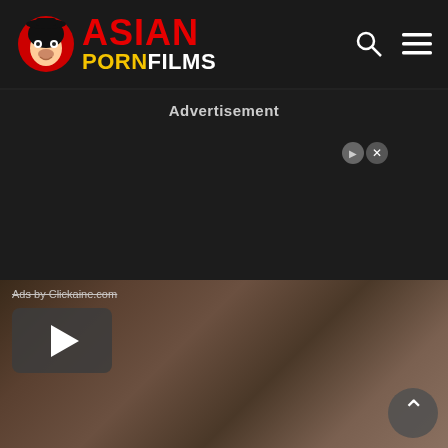[Figure (logo): Asian Porn Films website logo with mascot character and site name in red, yellow, and white text]
Advertisement
[Figure (screenshot): Video thumbnail showing adult content with a play button overlay and Ads by Clickaine.com label]